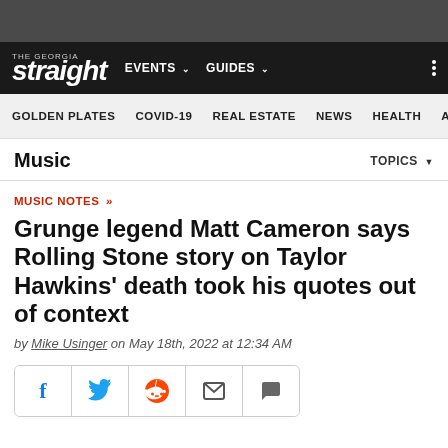THE GEORGIA STRAIGHT — EVENTS GUIDES
Music — TOPICS
MUSIC NOTES »
Grunge legend Matt Cameron says Rolling Stone story on Taylor Hawkins' death took his quotes out of context
by Mike Usinger on May 18th, 2022 at 12:34 AM
[Figure (other): Social share buttons: Facebook, Twitter, Reddit, Email, Comment]